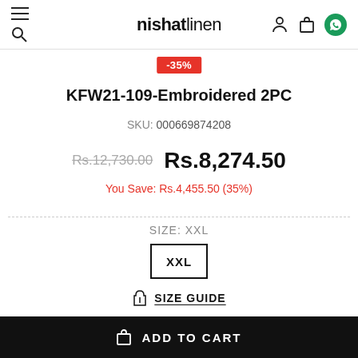nishatlinen
-35%
KFW21-109-Embroidered 2PC
SKU: 000669874208
Rs.12,730.00  Rs.8,274.50
You Save: Rs.4,455.50 (35%)
SIZE: XXL
XXL
SIZE GUIDE
ADD TO CART